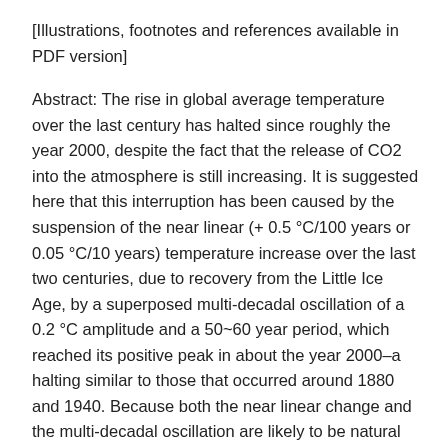[Illustrations, footnotes and references available in PDF version]
Abstract: The rise in global average temperature over the last century has halted since roughly the year 2000, despite the fact that the release of CO2 into the atmosphere is still increasing. It is suggested here that this interruption has been caused by the suspension of the near linear (+ 0.5 °C/100 years or 0.05 °C/10 years) temperature increase over the last two centuries, due to recovery from the Little Ice Age, by a superposed multi-decadal oscillation of a 0.2 °C amplitude and a 50~60 year period, which reached its positive peak in about the year 2000–a halting similar to those that occurred around 1880 and 1940. Because both the near linear change and the multi-decadal oscillation are likely to be natural changes (the recovery from the Little Ice Age (LIA) and an oscillation related to the Pacific Decadal